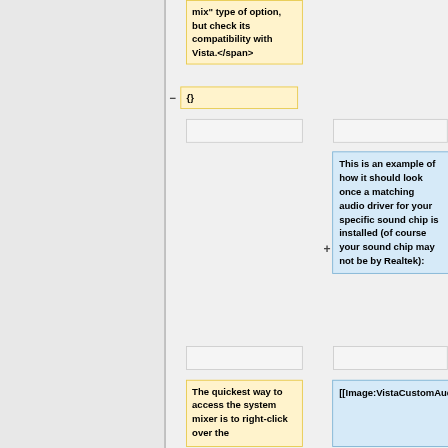mix" type of option, but check its compatibility with Vista.</span>
{}
This is an example of how it should look once a matching audio driver for your specific sound chip is installed (of course your sound chip may not be by Realtek):
The quickest way to access the system mixer is to right-click over the
[[Image:VistaCustomAudioDriver.png|440px]]